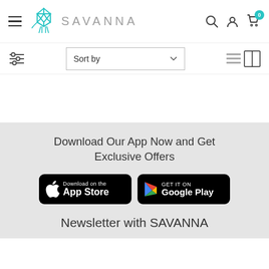[Figure (logo): Savanna brand logo with geometric elephant icon in teal/cyan and 'SAVANNA' text in grey]
[Figure (screenshot): Navigation bar with hamburger menu, search icon, user account icon, and shopping cart icon with badge showing 0]
[Figure (screenshot): Filter and sort bar with filter sliders icon, Sort by dropdown, list and grid view toggle icons]
Download Our App Now and Get Exclusive Offers
[Figure (screenshot): App Store download button (black rounded rectangle with Apple logo)]
[Figure (screenshot): Google Play download button (black rounded rectangle with Play store logo)]
Newsletter with SAVANNA